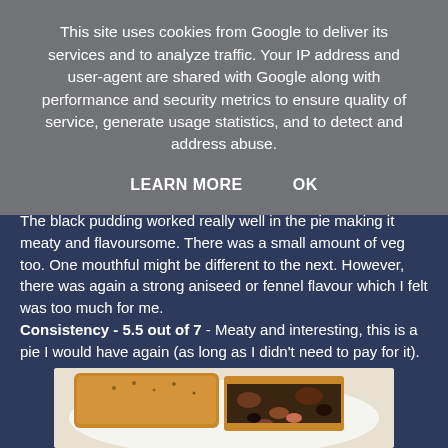This site uses cookies from Google to deliver its services and to analyze traffic. Your IP address and user-agent are shared with Google along with performance and security metrics to ensure quality of service, generate usage statistics, and to detect and address abuse.
LEARN MORE   OK
The black pudding worked really well in the pie making it meaty and flavoursome. There was a small amount of veg too. One mouthful might be different to the next. However, there was again a strong aniseed or fennel flavour which I felt was too much for me. Consistency - 5.5 out of 7 - Meaty and interesting, this is a pie I would have again (as long as I didn't need to pay for it).
[Figure (photo): Photo of a pie cut open on a white plate, showing dark meaty filling with chunks of meat and black pudding]